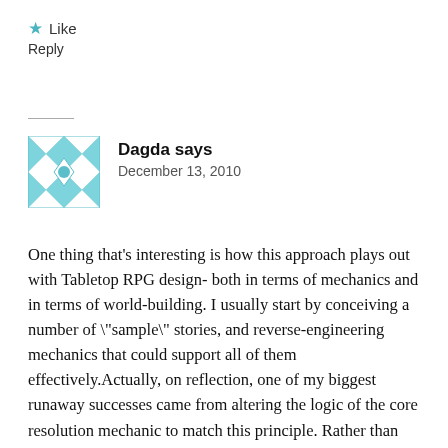★ Like
Reply
Dagda says
December 13, 2010
One thing that's interesting is how this approach plays out with Tabletop RPG design- both in terms of mechanics and in terms of world-building. I usually start by conceiving a number of \"sample\" stories, and reverse-engineering mechanics that could support all of them effectively.Actually, on reflection, one of my biggest runaway successes came from altering the logic of the core resolution mechanic to match this principle. Rather than describing your intent and then combining the story factors with die rolls to determine the outcome, the die rolls determine *both* the overall outcome *and* the story factors that